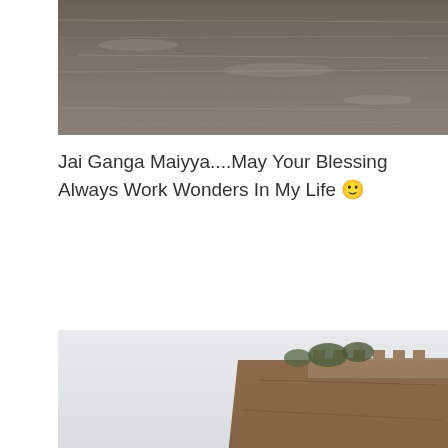[Figure (photo): Close-up view of a river surface with rippling grey-brown water, cropped at top of the page]
Jai Ganga Maiyya....May Your Blessing Always Work Wonders In My Life 🙂
[Figure (photo): Photograph of the Ganges river with sandy banks on the left, a rocky cliff with fortifications and trees in the background, and a large stone in the foreground lower right]